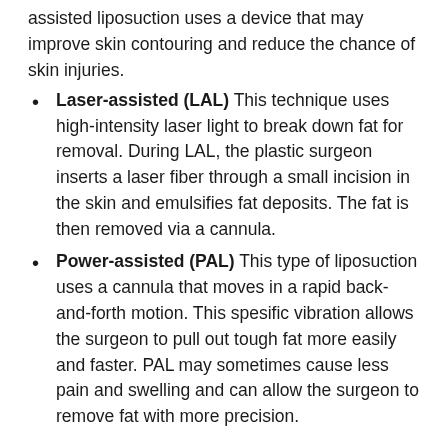assisted liposuction uses a device that may improve skin contouring and reduce the chance of skin injuries.
Laser-assisted (LAL) This technique uses high-intensity laser light to break down fat for removal. During LAL, the plastic surgeon inserts a laser fiber through a small incision in the skin and emulsifies fat deposits. The fat is then removed via a cannula.
Power-assisted (PAL) This type of liposuction uses a cannula that moves in a rapid back-and-forth motion. This spesific vibration allows the surgeon to pull out tough fat more easily and faster. PAL may sometimes cause less pain and swelling and can allow the surgeon to remove fat with more precision.
What type is used in the Adonis?
In the Adonis group of hospitals, the plastic surgeons use the classic method of liposuction as well as the super